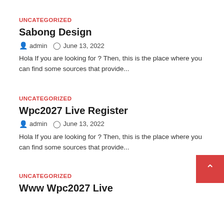UNCATEGORIZED
Sabong Design
admin   June 13, 2022
Hola If you are looking for ? Then, this is the place where you can find some sources that provide...
UNCATEGORIZED
Wpc2027 Live Register
admin   June 13, 2022
Hola If you are looking for ? Then, this is the place where you can find some sources that provide...
UNCATEGORIZED
Www Wpc2027 Live